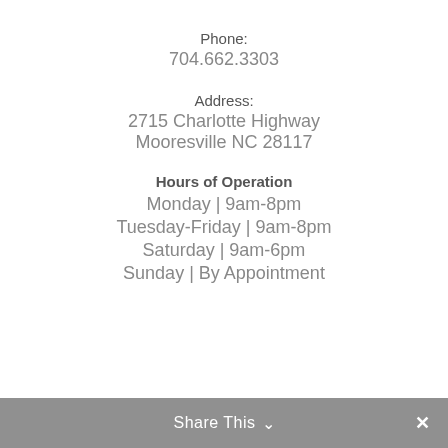Phone:
704.662.3303
Address:
2715 Charlotte Highway
Mooresville NC 28117
Hours of Operation
Monday | 9am-8pm
Tuesday-Friday | 9am-8pm
Saturday | 9am-6pm
Sunday | By Appointment
Share This ∨  ✕